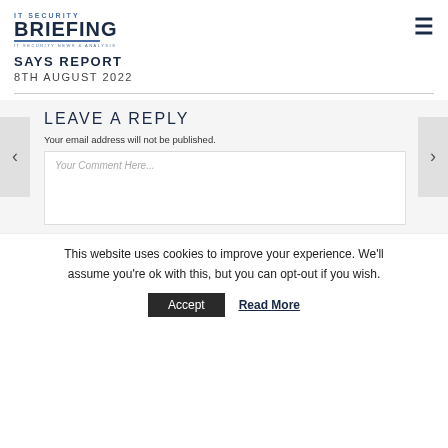IT SECURITY BRIEFING
SAYS REPORT
8TH AUGUST 2022
LEAVE A REPLY
Your email address will not be published.
Your Comment Here...
This website uses cookies to improve your experience. We'll assume you're ok with this, but you can opt-out if you wish.
Accept   Read More